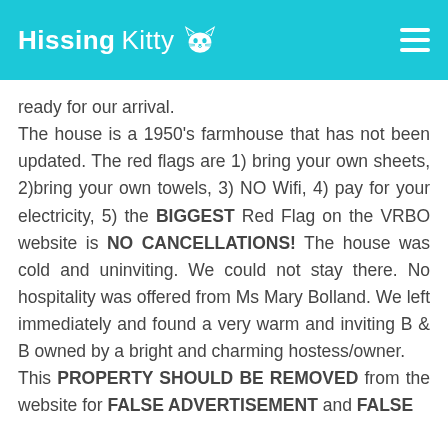HissingKitty
ready for our arrival.
The house is a 1950's farmhouse that has not been updated. The red flags are 1) bring your own sheets, 2)bring your own towels, 3) NO Wifi, 4) pay for your electricity, 5) the BIGGEST Red Flag on the VRBO website is NO CANCELLATIONS! The house was cold and uninviting. We could not stay there. No hospitality was offered from Ms Mary Bolland. We left immediately and found a very warm and inviting B & B owned by a bright and charming hostess/owner.
This PROPERTY SHOULD BE REMOVED from the website for FALSE ADVERTISEMENT and FALSE